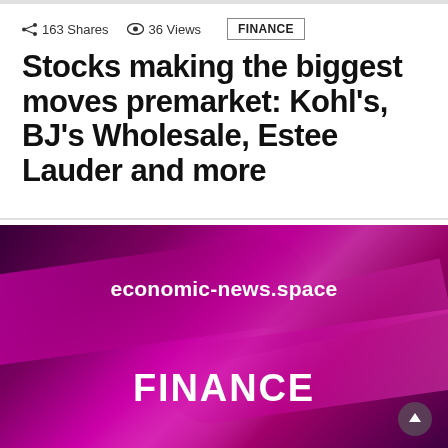163 Shares   36 Views   FINANCE
Stocks making the biggest moves premarket: Kohl's, BJ's Wholesale, Estee Lauder and more
[Figure (illustration): Purple and magenta abstract swoosh background image with text 'economic-news.space' and 'FINANCE' overlaid in white bold font]